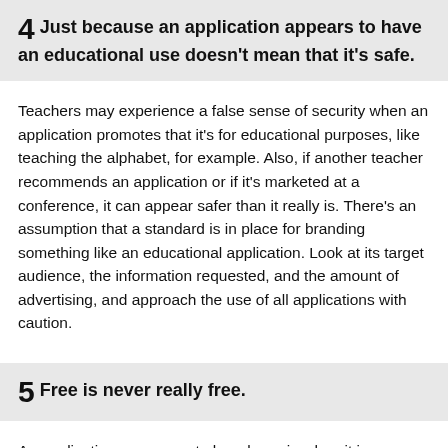4 Just because an application appears to have an educational use doesn't mean that it's safe.
Teachers may experience a false sense of security when an application promotes that it's for educational purposes, like teaching the alphabet, for example. Also, if another teacher recommends an application or if it's marketed at a conference, it can appear safer than it really is. There's an assumption that a standard is in place for branding something like an educational application. Look at its target audience, the information requested, and the amount of advertising, and approach the use of all applications with caution.
5 Free is never really free.
An application may seem to be a bargain when it is advertised as free, but it's free at a cost. At a minimum, It may be